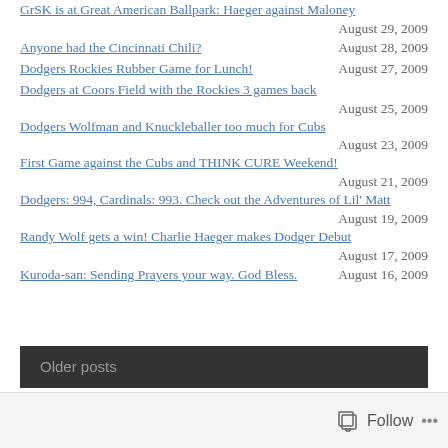GrSK is at Great American Ballpark: Haeger against Maloney
August 29, 2009
Anyone had the Cincinnati Chili?
August 28, 2009
Dodgers Rockies Rubber Game for Lunch!
August 27, 2009
Dodgers at Coors Field with the Rockies 3 games back
August 25, 2009
Dodgers Wolfman and Knuckleballer too much for Cubs
August 23, 2009
First Game against the Cubs and THINK CURE Weekend!
August 21, 2009
Dodgers: 994, Cardinals: 993. Check out the Adventures of Lil' Matt
August 19, 2009
Randy Wolf gets a win! Charlie Haeger makes Dodger Debut
August 17, 2009
Kuroda-san: Sending Prayers your way. God Bless.
August 16, 2009
Older posts
Follow ...